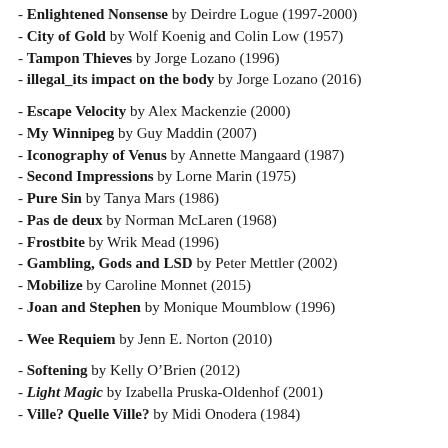- Enlightened Nonsense by Deirdre Logue (1997-2000)
- City of Gold by Wolf Koenig and Colin Low (1957)
- Tampon Thieves by Jorge Lozano (1996)
- illegal_its impact on the body by Jorge Lozano (2016)
- Escape Velocity by Alex Mackenzie (2000)
- My Winnipeg by Guy Maddin (2007)
- Iconography of Venus by Annette Mangaard (1987)
- Second Impressions by Lorne Marin (1975)
- Pure Sin by Tanya Mars (1986)
- Pas de deux by Norman McLaren (1968)
- Frostbite by Wrik Mead (1996)
- Gambling, Gods and LSD by Peter Mettler (2002)
- Mobilize by Caroline Monnet (2015)
- Joan and Stephen by Monique Moumblow (1996)
- Wee Requiem by Jenn E. Norton (2010)
- Softening by Kelly O'Brien (2012)
- Light Magic by Izabella Pruska-Oldenhof (2001)
- Ville? Quelle Ville? by Midi Onodera (1984)